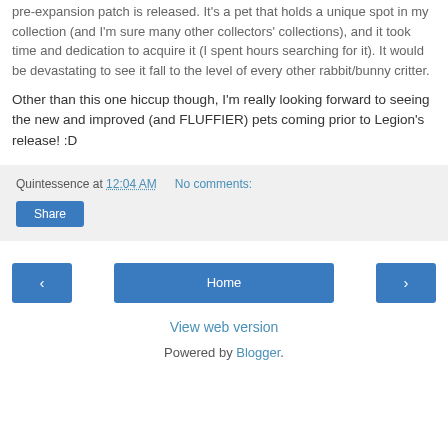pre-expansion patch is released. It's a pet that holds a unique spot in my collection (and I'm sure many other collectors' collections), and it took time and dedication to acquire it (I spent hours searching for it). It would be devastating to see it fall to the level of every other rabbit/bunny critter.
Other than this one hiccup though, I'm really looking forward to seeing the new and improved (and FLUFFIER) pets coming prior to Legion's release! :D
Quintessence at 12:04 AM   No comments:
Share
‹
Home
›
View web version
Powered by Blogger.